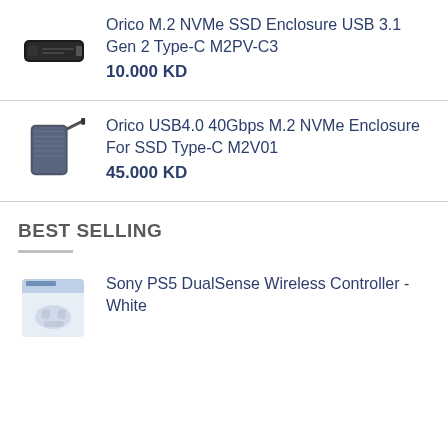[Figure (photo): Black M.2 NVMe SSD enclosure device, small rectangular black hardware dongle]
Orico M.2 NVMe SSD Enclosure USB 3.1 Gen 2 Type-C M2PV-C3
10.000 KD
[Figure (photo): Dark grey/blue M.2 NVMe SSD enclosure with cable, Orico USB4.0 product]
Orico USB4.0 40Gbps M.2 NVMe Enclosure For SSD Type-C M2V01
45.000 KD
BEST SELLING
[Figure (photo): Sony PS5 DualSense Wireless Controller - White, product box image]
Sony PS5 DualSense Wireless Controller - White